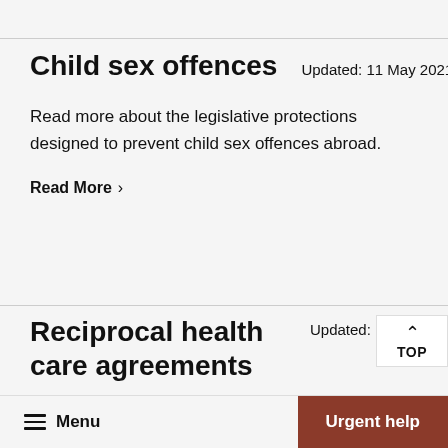Child sex offences
Updated: 11 May 2021
Read more about the legislative protections designed to prevent child sex offences abroad.
Read More >
Reciprocal health care agreements
Updated: 14 No
Australia has reciprocal health care agreements with 11 countries. These countries provide some
Menu  Urgent help